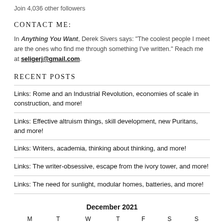Join 4,036 other followers
CONTACT ME:
In Anything You Want, Derek Sivers says: "The coolest people I meet are the ones who find me through something I've written." Reach me at seligerj@gmail.com.
RECENT POSTS
Links: Rome and an Industrial Revolution, economies of scale in construction, and more!
Links: Effective altruism things, skill development, new Puritans, and more!
Links: Writers, academia, thinking about thinking, and more!
Links: The writer-obsessive, escape from the ivory tower, and more!
Links: The need for sunlight, modular homes, batteries, and more!
| M | T | W | T | F | S | S |
| --- | --- | --- | --- | --- | --- | --- |
|  |  | 1 | 2 | 3 | 4 | 5 |